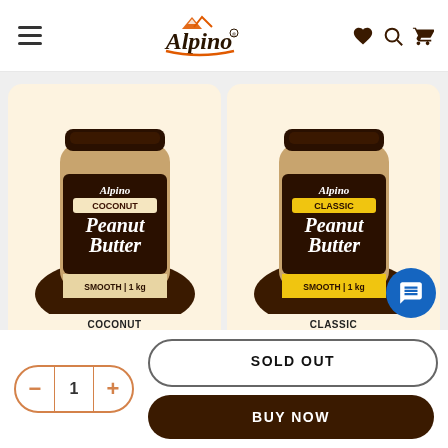Alpino — navigation header with hamburger menu, logo, heart/search/cart icons
[Figure (photo): Alpino Coconut Peanut Butter jar, Smooth 1kg, on cream/brown background]
COCONUT
PEANUT BUTTER
[Figure (photo): Alpino Classic Peanut Butter jar, Smooth 1kg, on cream/brown background]
CLASSIC
PEANUT BUTTER
SOLD OUT
BUY NOW